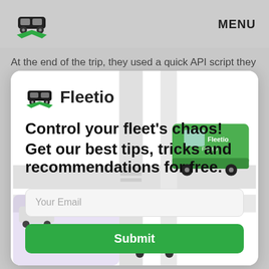[Figure (logo): Fleetio car logo in navbar - dark car with green chevron underneath]
MENU
At the end of the trip, they used a quick API script they
[Figure (screenshot): Fleetio signup modal card with logo, headline, email input and submit button, with background illustration of toy vehicles on a road map]
Control your fleet's chaos!
Get our best tips, tricks and recommendations for free.